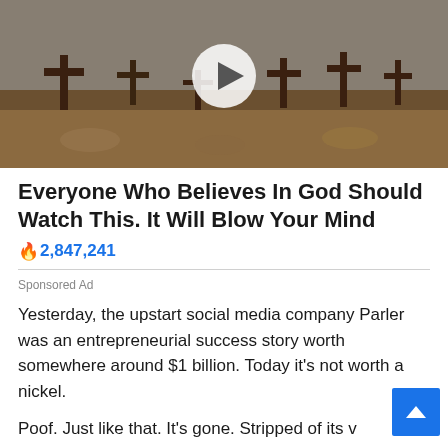[Figure (screenshot): Video thumbnail showing a cemetery with crosses, a play button overlay in the center]
Everyone Who Believes In God Should Watch This. It Will Blow Your Mind
🔥 2,847,241
Sponsored Ad
Yesterday, the upstart social media company Parler was an entrepreneurial success story worth somewhere around $1 billion. Today it's not worth a nickel.
Poof. Just like that. It's gone. Stripped of its v existence. Flushed down the memory hole.